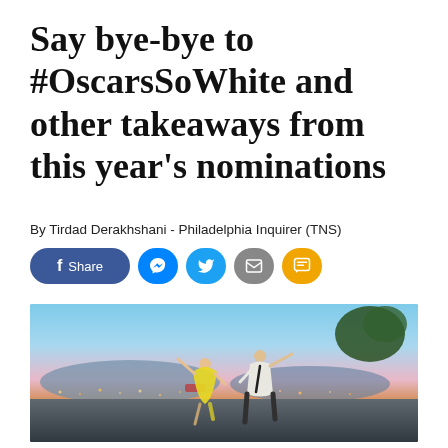Say bye-bye to #OscarsSoWhite and other takeaways from this year's nominations
By Tirdad Derakhshani - Philadelphia Inquirer (TNS)
[Figure (other): Social media sharing buttons: Facebook Share, Messenger, Twitter, Email, SMS]
[Figure (photo): A man and woman dancing dramatically outdoors at dusk with city lights in background. The woman wears a yellow dress with arms extended. The man wears a white shirt and dark trousers. Scene appears to be from the movie La La Land.]